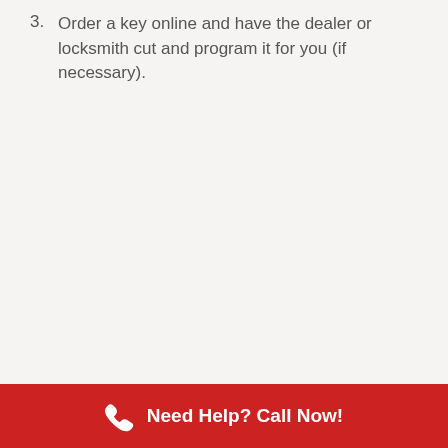3. Order a key online and have the dealer or locksmith cut and program it for you (if necessary).
Need Help? Call Now!